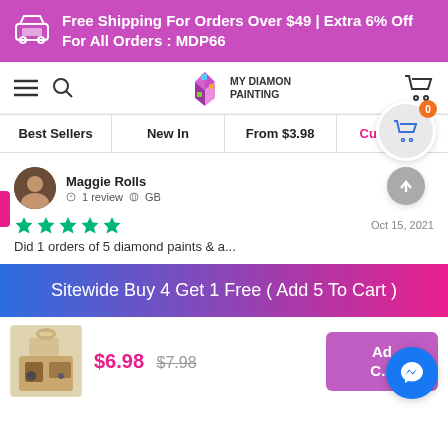Free Shipping For Orders Over $49 | Extra 6% Off For All Orders : MDP66
[Figure (screenshot): My Diamond Painting website navigation bar with hamburger menu, search icon, logo, and cart icon]
Best Sellers | New In | From $3.98 | Customize
Maggie Rolls · 1 review · GB
[Figure (other): 5 green Trustpilot stars rating]
Oct 15, 2021
Did 1 orders of 5 diamond paints & a...
Sitewide Buy 4 Get 1 Free ( Add 5 To Cart )
$6.98  $7.98